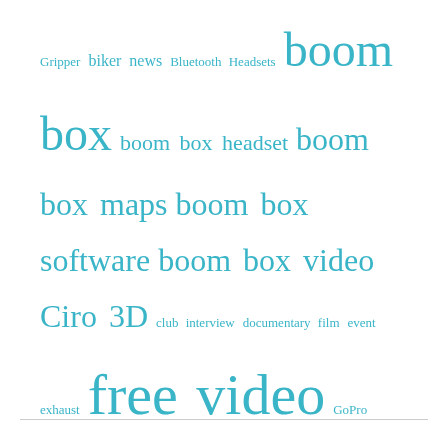[Figure (other): Tag cloud with motorcycle/biker-related keywords in varying font sizes and a uniform cyan/teal color. Terms include: Gripper, biker, news, Bluetooth Headsets, boom box, boom box headset, boom box maps, boom box software, boom box video, Ciro 3D, club interview, documentary film, event, exhaust, free video, GoPro, Harley-Davidson, how to video, Indian, interview, law abiding biker clubs, led, LED Lighting, led lights, Lighting, Milwaukee-Eight, motorcycle club, motorcycle clubs, Motorcycle Trip, podcast, Protective Gear, review, review video, riding gear, soa, soa season 7, sons of anarchy, Street Glide Special, tutorial video, vance & hines, video, VLOG]